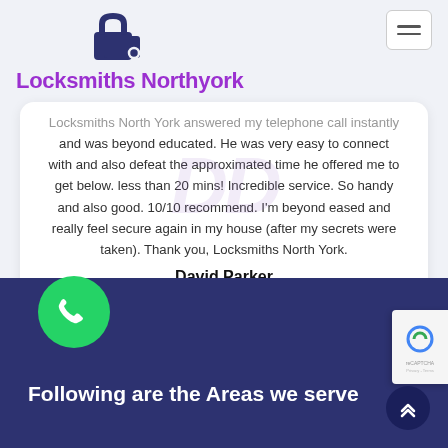[Figure (logo): Locksmiths Northyork logo with padlock and key icon in dark navy blue]
Locksmiths Northyork
Locksmiths North York answered my telephone call instantly and was beyond educated. He was very easy to connect with and also defeat the approximated time he offered me to get below. less than 20 mins! Incredible service. So handy and also good. 10/10 recommend. I'm beyond eased and really feel secure again in my house (after my secrets were taken). Thank you, Locksmiths North York.
David Parker
Following are the Areas we serve
[Figure (other): Green circular phone/WhatsApp button]
[Figure (other): reCAPTCHA badge on right edge]
[Figure (other): Dark scroll-to-top chevron button]